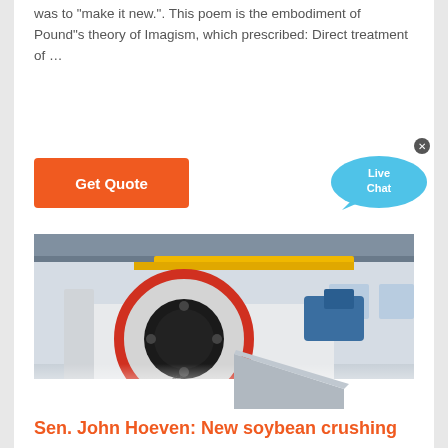was to "make it new.". This poem is the embodiment of Pound"s theory of Imagism, which prescribed: Direct treatment of …
[Figure (other): Orange 'Get Quote' button on the left, and a blue Live Chat speech bubble widget on the right with a close X button]
[Figure (photo): Industrial jaw crusher machine photographed in a factory setting. The machine is white with red and black circular flywheel, yellow overhead crane visible in background.]
Sen. John Hoeven: New soybean crushing